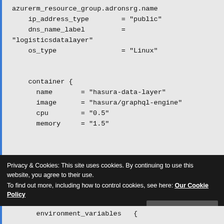azurerm_resource_group.adronsrg.name
    ip_address_type        = "public"
    dns_name_label         =
"logisticsdatalayer"
    os_type                = "Linux"


    container {
      name       = "hasura-data-layer"
      image      = "hasura/graphql-engine"
      cpu        = "0.5"
      memory     = "1.5"
Privacy & Cookies: This site uses cookies. By continuing to use this website, you agree to their use.
To find out more, including how to control cookies, see here: Our Cookie Policy
environment_variables   {